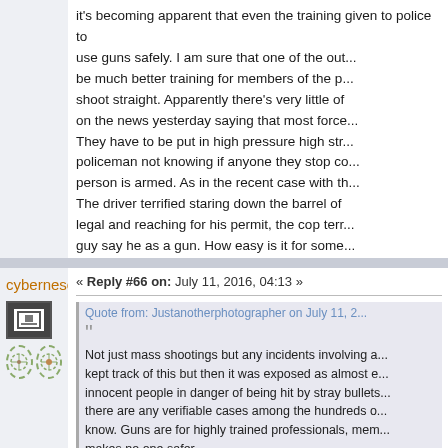it's becoming apparent that even the training given to police to use guns safely. I am sure that one of the outcomes will be much better training for members of the police to shoot straight. Apparently there's very little of that on the news yesterday saying that most forces... They have to be put in high pressure high stress... policeman not knowing if anyone they stop could be person is armed. As in the recent case with the... The driver terrified staring down the barrel of a... legal and reaching for his permit, the cop terr... guy say he as a gun. How easy is it for some...
« Reply #66 on: July 11, 2016, 04:13 »
cybernesco
Quote from: Justanotherphotographer on July 11, 2...
Not just mass shootings but any incidents involving a... kept track of this but then it was exposed as almost e... innocent people in danger of being hit by stray bullets... there are any verifiable cases among the hundreds o... know. Guns are for highly trained professionals, mem... makes no one safer.
It's becoming apparent that even the training given to... am sure that one of the outcomes from the black live... of the police...